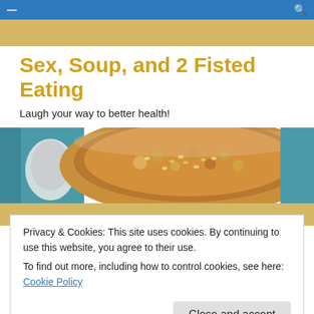≡  🔍
Sex, Soup, and 2 Fisted Eating
Laugh your way to better health!
[Figure (photo): Bowl of vegetable barley soup with a spoon, on a colorful patterned tablecloth]
TAGGED WITH NITRIC OXIDE DIABETES
Privacy & Cookies: This site uses cookies. By continuing to use this website, you agree to their use.
To find out more, including how to control cookies, see here: Cookie Policy
Close and accept